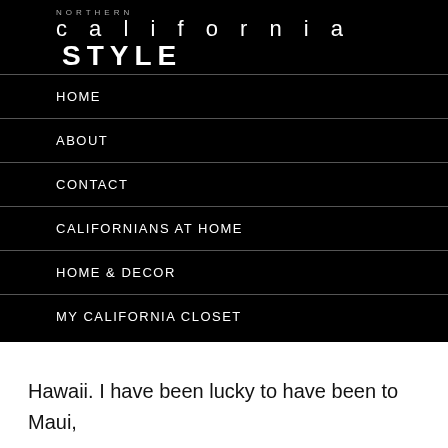NORTHERN california STYLE
HOME
ABOUT
CONTACT
CALIFORNIANS AT HOME
HOME & DECOR
MY CALIFORNIA CLOSET
Hawaii. I have been lucky to have been to Maui, Oahu. Kauai, and Hawaii or the Big Island, as it is known. Each has it’s charms and unique beauty. The Big Island, however has become our very